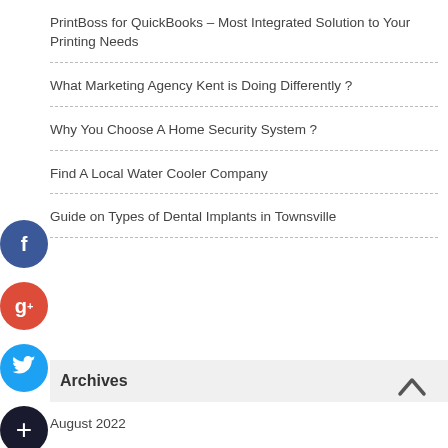PrintBoss for QuickBooks – Most Integrated Solution to Your Printing Needs
What Marketing Agency Kent is Doing Differently ?
Why You Choose A Home Security System ?
Find A Local Water Cooler Company
Guide on Types of Dental Implants in Townsville
Archives
August 2022